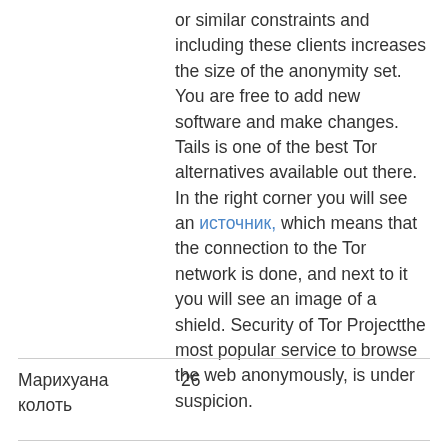or similar constraints and including these clients increases the size of the anonymity set. You are free to add new software and make changes. Tails is one of the best Tor alternatives available out there. In the right corner you will see an источник, which means that the connection to the Tor network is done, and next to it you will see an image of a shield. Security of Tor Projectthe most popular service to browse the web anonymously, is under suspicion.
| Марихуана
колоть | 26 |